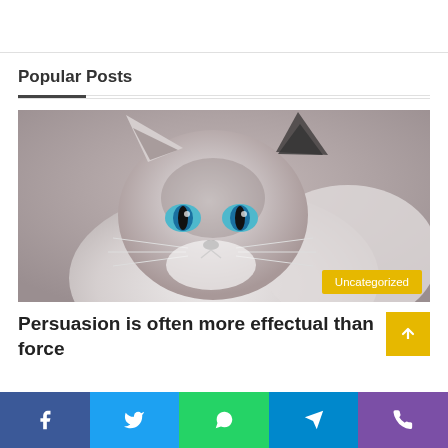Popular Posts
[Figure (photo): Close-up photo of a Birman or Ragdoll cat with blue eyes, grey and white fur, looking upward, with a blurred background. An 'Uncategorized' badge overlays the bottom-right corner.]
Persuasion is often more effectual than force